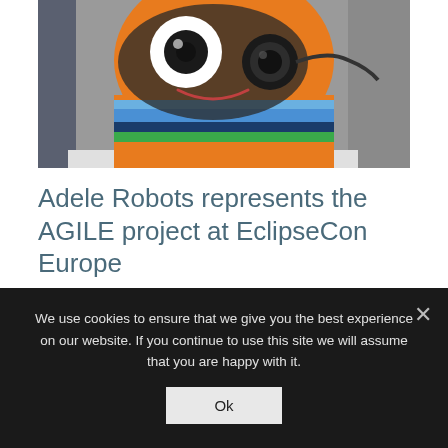[Figure (photo): Close-up photo of a colorful robot head/mascot with orange top, large cartoon eyes (one round white with dark pupil, one dark lens), and horizontal stripes in blue, green, orange, dark blue colors on the lower portion. The robot has a smiling expression.]
Adele Robots represents the AGILE project at EclipseCon Europe
Posted on 2nd November 2018
We use cookies to ensure that we give you the best experience on our website. If you continue to use this site we will assume that you are happy with it.
Ok